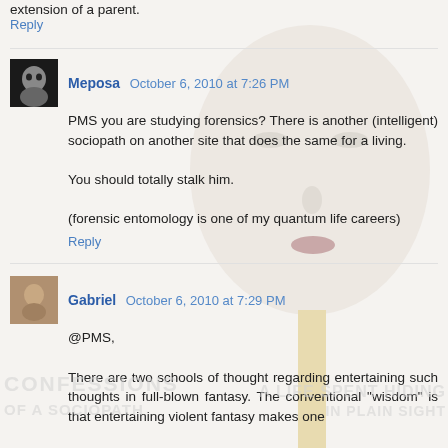extension of a parent.
Reply
[Figure (photo): Background image of a pale female face (mannequin or sculpture) on a white stick, shown from nose up, overlaid behind comment text]
Medusa  October 6, 2010 at 7:26 PM
PMS you are studying forensics? There is another (intelligent) sociopath on another site that does the same for a living.

You should totally stalk him.

(forensic entomology is one of my quantum life careers)
Reply
Gabriel  October 6, 2010 at 7:29 PM
@PMS,

There are two schools of thought regarding entertaining such thoughts in full-blown fantasy. The conventional "wisdom" is that entertaining violent fantasy makes one
CONFESSIONS
OF A SOCIOPATH
A LIFE SPENT HIDING
IN PLAIN SIGHT